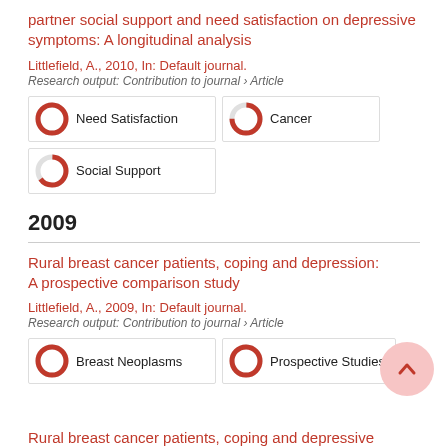partner social support and need satisfaction on depressive symptoms: A longitudinal analysis
Littlefield, A., 2010, In: Default journal.
Research output: Contribution to journal › Article
100% Need Satisfaction | 75% Cancer | 65% Social Support
2009
Rural breast cancer patients, coping and depression: A prospective comparison study
Littlefield, A., 2009, In: Default journal.
Research output: Contribution to journal › Article
100% Breast Neoplasms | 100% Prospective Studies
Rural breast cancer patients, coping and depressive